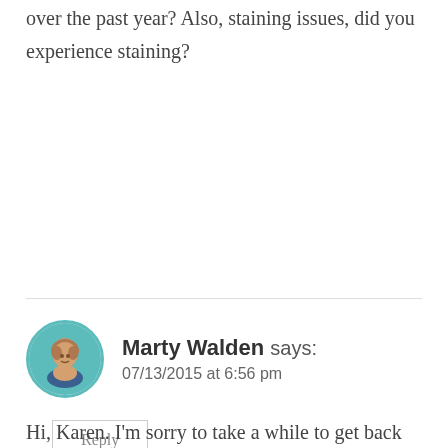over the past year? Also, staining issues, did you experience staining?
Reply
Marty Walden says:
07/13/2015 at 6:56 pm
Hi, Karen. I'm sorry to take a while to get back to you. I am actually posting a follow up in a couple of weeks. We have had a great experience with the Behr product but it's all